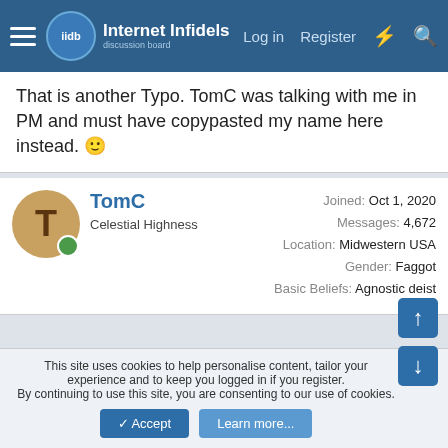Internet Infidels — Log in | Register
That is another Typo. TomC was talking with me in PM and must have copypasted my name here instead. 😀
TomC
Celestial Highness
Joined: Oct 1, 2020
Messages: 4,672
Location: Midwestern USA
Gender: Faggot
Basic Beliefs: Agnostic deist
Aug 17, 2021  #17
Gospel said: ↑
That is another Typo. TomC was talking with me in PM and must have copypasted my name here instead. 😀
This site uses cookies to help personalise content, tailor your experience and to keep you logged in if you register.
By continuing to use this site, you are consenting to our use of cookies.